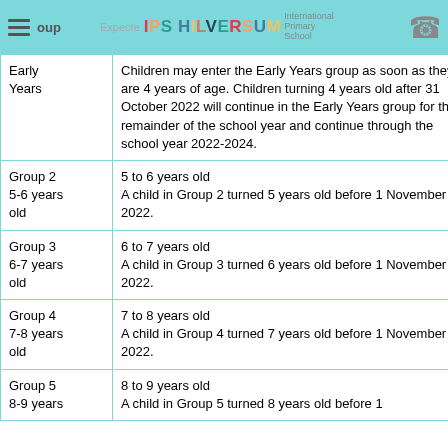Group | Expected | IPS HILVERSUM
| Group | Expected |
| --- | --- |
| Early Years | Children may enter the Early Years group as soon as they are 4 years of age. Children turning 4 years old after 31 October 2022 will continue in the Early Years group for the remainder of the school year and continue through the school year 2022-2024. |
| Group 2
5-6 years old | 5 to 6 years old
A child in Group 2 turned 5 years old before 1 November 2022. |
| Group 3
6-7 years old | 6 to 7 years old
A child in Group 3 turned 6 years old before 1 November 2022. |
| Group 4
7-8 years old | 7 to 8 years old
A child in Group 4 turned 7 years old before 1 November 2022. |
| Group 5
8-9 years | 8 to 9 years old
A child in Group 5 turned 8 years old before 1 |